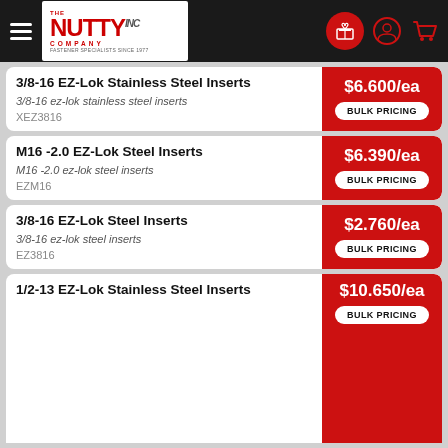The Nutty Company - Fastener Specialists Since 1977
3/8-16 EZ-Lok Stainless Steel Inserts | 3/8-16 ez-lok stainless steel inserts | XEZ3816 | $6.600/ea | BULK PRICING
M16 -2.0 EZ-Lok Steel Inserts | M16 -2.0 ez-lok steel inserts | EZM16 | $6.390/ea | BULK PRICING
3/8-16 EZ-Lok Steel Inserts | 3/8-16 ez-lok steel inserts | EZ3816 | $2.760/ea | BULK PRICING
1/2-13 EZ-Lok Stainless Steel Inserts | $10.650/ea | BULK PRICING